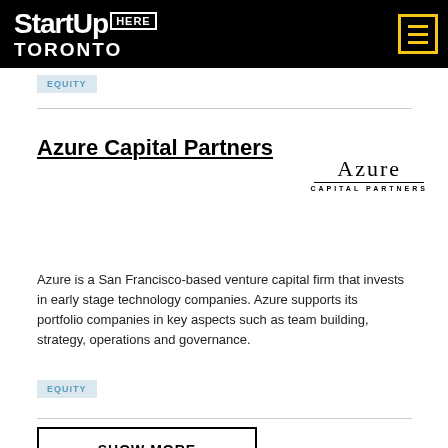StartUp HERE TORONTO
[Figure (logo): StartUp HERE Toronto logo on black background with hamburger menu icon]
EQUITY
Azure Capital Partners
[Figure (logo): Azure Capital Partners logo - serif text with underline and small caps subtitle]
Azure is a San Francisco-based venture capital firm that invests in early stage technology companies. Azure supports its portfolio companies in key aspects such as team building, strategy, operations and governance.
EQUITY
SHOW MORE